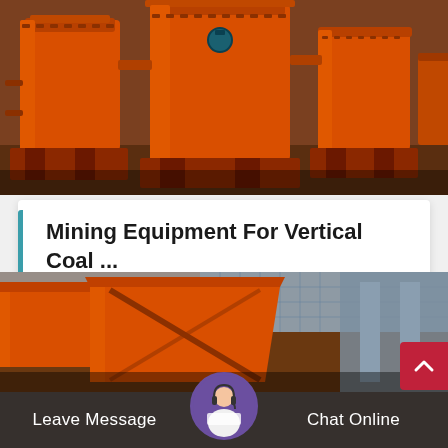[Figure (photo): Industrial orange mining equipment/vertical mills on a factory floor with dark steel bases]
Mining Equipment For Vertical Coal ...
Coal mining crusher equipment vertical mill price it is because of them that many of our equipment are…
[Figure (photo): Orange industrial mining crusher/conveyor equipment viewed from the front in a warehouse]
Leave Message   Chat Online